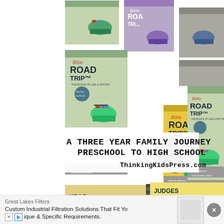[Figure (photo): Advertisement image for Bible Road Trip curriculum showing multiple book covers with illustrated colorful cars loaded with luggage, plus a workbook open to Judges. Text reads: A THREE YEAR FAMILY JOURNEY PRESCHOOL TO HIGH SCHOOL, ThinkingKidsPress.com. Thinking Kids Press logo in bottom right corner.]
Great Lakes Filters
Custom Industrial Filtration Solutions That Fit Yo ique & Specific Requirements.